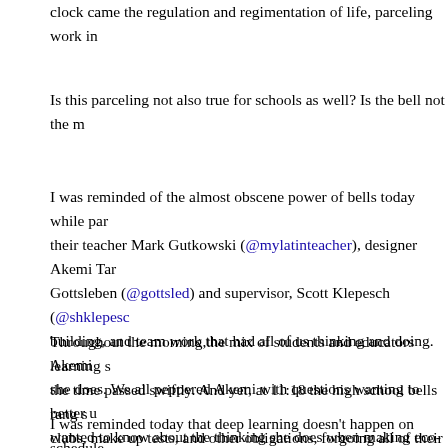clock came the regulation and regimentation of life, parceling work in
Is this parceling not also true for schools as well? Is the bell not the m
I was reminded of the almost obscene power of bells today while part their teacher Mark Gutkowski (@mylatinteacher), designer Akemi Tar Gottsleben (@gottsled) and supervisor, Scott Klepesch (@shklepesc building, and team work that had all of us thinking and doing. Akemi she does. We all peppered Akemi with questions wanting to better u wanted to know about the thinking she does when making eco-consc of design. Akemi then offered critique to students' design presentation originated and what problem it attempted to solve.
Throughout the morning,the mix of students and educators learning s the time passed swiftly. And yet, at 11:18 the high school bells rang s clubs, make up tests, and other obligations, forgoing all of their found determined by learners, but rather by a bell.
I was reminded today that deep learning doesn't happen on schedule school into predetermined blocks of time and signaling the start and s